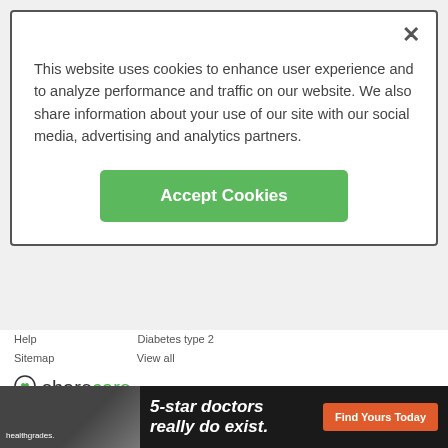This website uses cookies to enhance user experience and to analyze performance and traffic on our website. We also share information about your use of our site with our social media, advertising and analytics partners.
Accept Cookies
Help
Sitemap
Diabetes type 2
View all
[Figure (logo): Sharecare logo with green heart icon]
©2022 Sharecare, Inc.
[Figure (infographic): Social media icons: Facebook, Instagram, LinkedIn, Twitter, Pinterest]
ADVERTISEMENT
ADCHOICES | COOKIES | DO NOT SELL MY DATA | PRIVACY | TERMS
[Figure (photo): Healthgrades advertisement banner: 5-star doctors really do exist. Find Yours Today.]